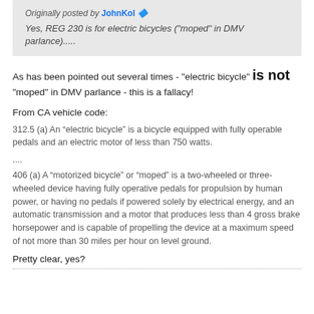Originally posted by JohnKol
Yes, REG 230 is for electric bicycles ("moped" in DMV parlance).....
As has been pointed out several times - "electric bicycle" is not "moped" in DMV parlance - this is a fallacy!
From CA vehicle code:
312.5 (a) An “electric bicycle” is a bicycle equipped with fully operable pedals and an electric motor of less than 750 watts.
....
406 (a) A “motorized bicycle” or “moped” is a two-wheeled or three-wheeled device having fully operative pedals for propulsion by human power, or having no pedals if powered solely by electrical energy, and an automatic transmission and a motor that produces less than 4 gross brake horsepower and is capable of propelling the device at a maximum speed of not more than 30 miles per hour on level ground.
Pretty clear, yes?